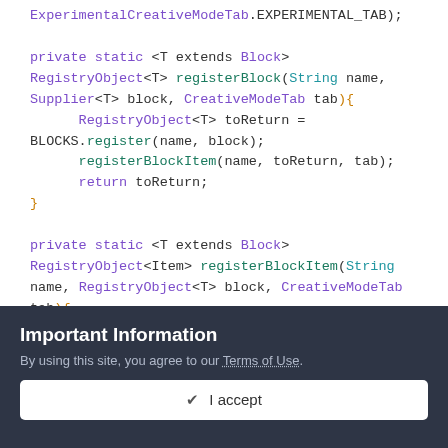ExperimentalCreativeModeTab.EXPERIMENTAL_TAB);

private static <T extends Block>
RegistryObject<T> registerBlock(String name,
Supplier<T> block, CreativeModeTab tab){
    RegistryObject<T> toReturn =
BLOCKS.register(name, block);
    registerBlockItem(name, toReturn, tab);
    return toReturn;
}

private static <T extends Block>
RegistryObject<Item> registerBlockItem(String
name, RegistryObject<T> block, CreativeModeTab
tab){
Important Information
By using this site, you agree to our Terms of Use.
✓  I accept